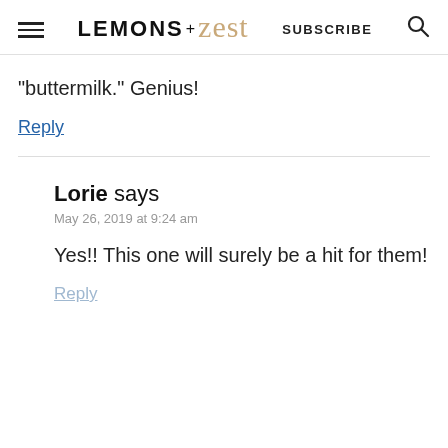LEMONS + zest | SUBSCRIBE
"buttermilk." Genius!
Reply
Lorie says
May 26, 2019 at 9:24 am
Yes!! This one will surely be a hit for them!
Reply